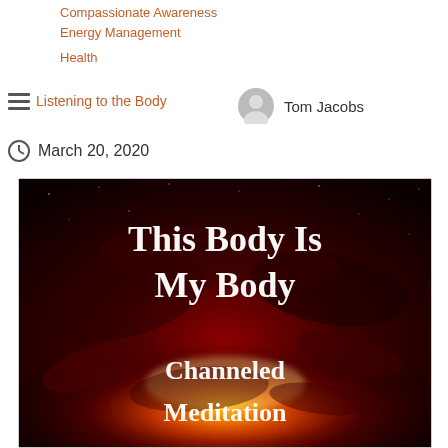Compassionate Awareness
Energy Management
Health
Listening to the Body
Tom Jacobs
March 20, 2020
[Figure (photo): Book cover titled 'This Body Is My Body - Channeled Meditation' with a dramatic red and orange nebula/cosmic fire background and white serif text]